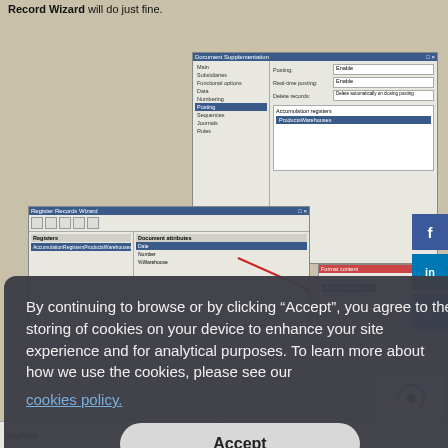Record Wizard will do just fine.
[Figure (screenshot): Screenshot showing Document Supplementation dialog and Register Records Wizard window with a cookie consent banner overlay. Social media icons (Facebook, LinkedIn, Twitter) visible on right side. reCAPTCHA visible bottom right.]
By continuing to browse or by clicking “Accept”, you agree to the storing of cookies on your device to enhance your site experience and for analytical purposes. To learn more about how we use the cookies, please see our
cookies policy.
Accept